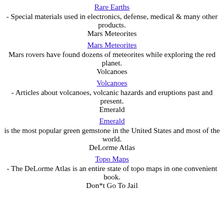Rare Earths
- Special materials used in electronics, defense, medical & many other products.
Mars Meteorites
Mars Meteorites
Mars rovers have found dozens of meteorites while exploring the red planet.
Volcanoes
Volcanoes
- Articles about volcanoes, volcanic hazards and eruptions past and present.
Emerald
Emerald
is the most popular green gemstone in the United States and most of the world.
DeLorme Atlas
Topo Maps
- The DeLorme Atlas is an entire state of topo maps in one convenient book.
Don*t Go To Jail